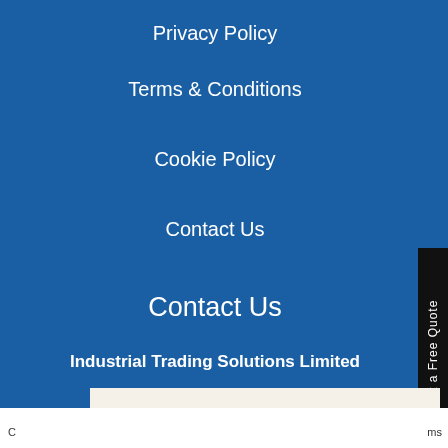Privacy Policy
Terms & Conditions
Cookie Policy
Contact Us
Contact Us
Industrial Trading Solutions Limited
Get a Free Quote
This website uses cookies to ensure you get the best experience on our website.
Learn more
Accept
C
ms